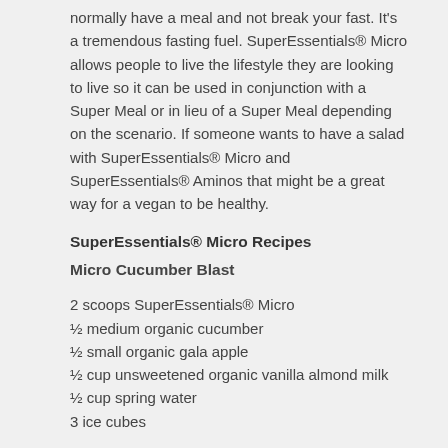normally have a meal and not break your fast. It's a tremendous fasting fuel. SuperEssentials® Micro allows people to live the lifestyle they are looking to live so it can be used in conjunction with a Super Meal or in lieu of a Super Meal depending on the scenario. If someone wants to have a salad with SuperEssentials® Micro and SuperEssentials® Aminos that might be a great way for a vegan to be healthy.
SuperEssentials® Micro Recipes
Micro Cucumber Blast
2 scoops SuperEssentials® Micro
½ medium organic cucumber
½ small organic gala apple
½ cup unsweetened organic vanilla almond milk
½ cup spring water
3 ice cubes
Mix in a blender until smooth and enjoy!
Avocado Micro Smoothie